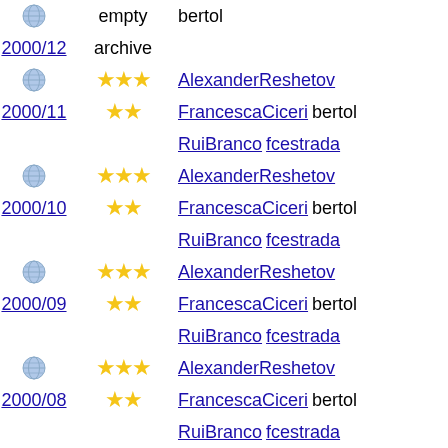[globe] empty bertol
2000/12 archive
[globe] ★★★ AlexanderReshetov
2000/11 ★★ FrancescaCiceri bertol RuiBranco fcestrada
[globe] ★★★ AlexanderReshetov
2000/10 ★★ FrancescaCiceri bertol RuiBranco fcestrada
[globe] ★★★ AlexanderReshetov
2000/09 ★★ FrancescaCiceri bertol RuiBranco fcestrada
[globe] ★★★ AlexanderReshetov
2000/08 ★★ FrancescaCiceri bertol RuiBranco fcestrada
[globe] ★★★ AlexanderReshetov
2000/07 ★★ FrancescaCiceri bertol RuiBranco fcestrada
[globe] ★★★ AlexanderReshetov
2000/06 ★★ FrancescaCiceri bertol